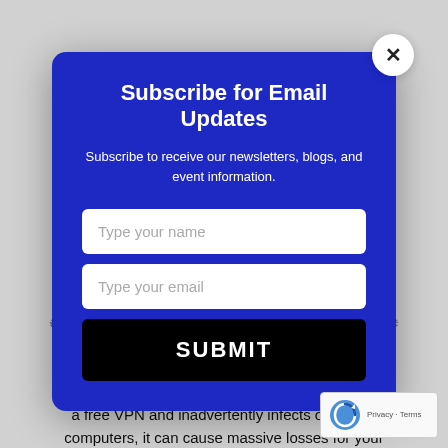are also downloading malware that can wreak havoc on your devices. These statistics are very alarming since many sinister programs will collect sensitive data. Just imagine that even if a single employee a free VPN and inadvertently infects one of y computers, it can cause massive losses for your
Subscribe for Email Updates
Subscribe to receive our newsletters, blogs, and event information.
Type your name
Type your email
SUBMIT